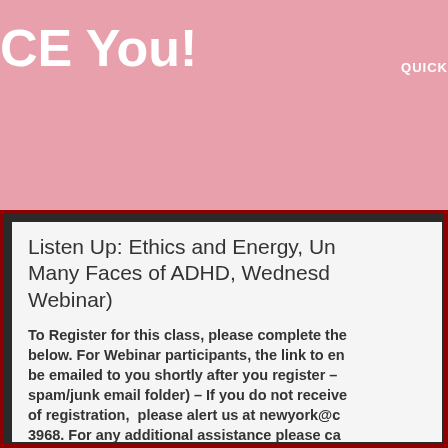CE You!  QUICK
Listen Up: Ethics and Energy, Un- Many Faces of ADHD, Wednesd- Webinar)
To Register for this class, please complete the below. For Webinar participants, the link to en- be emailed to you shortly after you register – spam/junk email folder) – If you do not receive of registration, please alert us at newyork@c- 3968. For any additional assistance please ca-